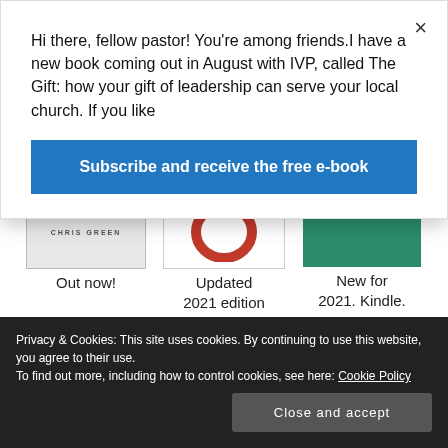Hi there, fellow pastor! You're among friends.I have a new book coming out in August with IVP, called The Gift: how your gift of leadership can serve your local church. If you like
Subscribe and receive the free e-book
[Figure (screenshot): Three book covers in a row: Chris Green book (out now), a book with red circle (Updated 2021 edition), and a green book by Chris Green (New for 2021. Kindle.)]
[Figure (screenshot): Three more book covers: The Message of the Church (yellow/gold), Cutting to the Heart (orange), 2 Timothy Finding the Race (dark cover)]
Privacy & Cookies: This site uses cookies. By continuing to use this website, you agree to their use.
To find out more, including how to control cookies, see here: Cookie Policy
Close and accept